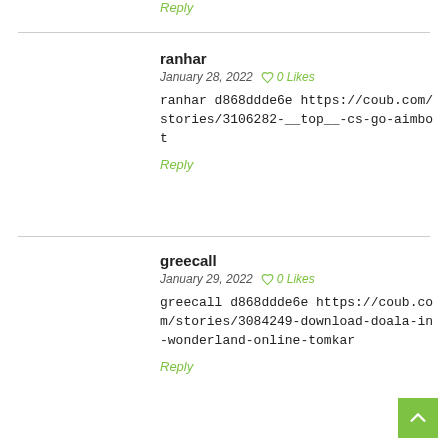Reply
ranhar
January 28, 2022  0 Likes

ranhar d868ddde6e https://coub.com/stories/3106282-__top__-cs-go-aimbot

Reply
greecall
January 29, 2022  0 Likes

greecall d868ddde6e https://coub.com/stories/3084249-download-doala-in-wonderland-online-tomkar

Reply